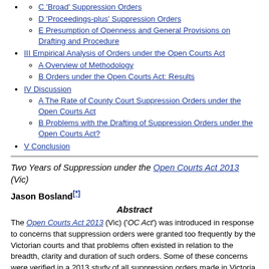C 'Broad' Suppression Orders
D 'Proceedings-plus' Suppression Orders
E Presumption of Openness and General Provisions on Drafting and Procedure
III Empirical Analysis of Orders under the Open Courts Act
A Overview of Methodology
B Orders under the Open Courts Act: Results
IV Discussion
A The Rate of County Court Suppression Orders under the Open Courts Act
B Problems with the Drafting of Suppression Orders under the Open Courts Act?
V Conclusion
Two Years of Suppression under the Open Courts Act 2013 (Vic)
Jason Bosland[*]
Abstract
The Open Courts Act 2013 (Vic) ('OC Act') was introduced in response to concerns that suppression orders were granted too frequently by the Victorian courts and that problems often existed in relation to the breadth, clarity and duration of such orders. Some of these concerns were verified in a 2013 study of all suppression orders made in Victoria between 2008 and 2012. In order to assess the